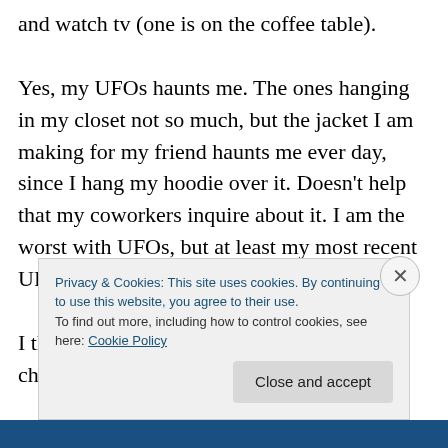and watch tv (one is on the coffee table).

Yes, my UFOs haunts me. The ones hanging in my closet not so much, but the jacket I am making for my friend haunts me ever day, since I hang my hoodie over it. Doesn't help that my coworkers inquire about it. I am the worst with UFOs, but at least my most recent UFO has a good reason to be placed there.

I think my thing with sewing when I get a chance
Privacy & Cookies: This site uses cookies. By continuing to use this website, you agree to their use.
To find out more, including how to control cookies, see here: Cookie Policy
Close and accept